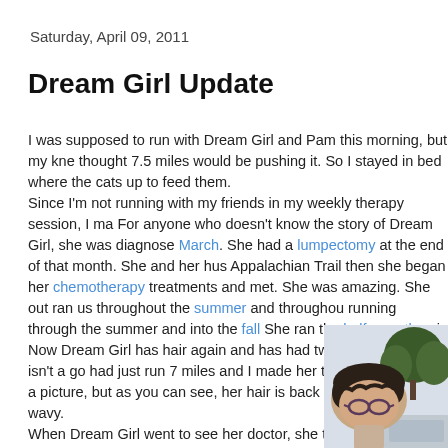Saturday, April 09, 2011
Dream Girl Update
I was supposed to run with Dream Girl and Pam this morning, but my kne thought 7.5 miles would be pushing it. So I stayed in bed where the cats up to feed them.
Since I'm not running with my friends in my weekly therapy session, I ma For anyone who doesn't know the story of Dream Girl, she was diagnose March. She had a lumpectomy at the end of that month. She and her hus Appalachian Trail then she began her chemotherapy treatments and met. She was amazing. She out ran us throughout the summer and throughou running through the summer and into the fall She ran the half-marathon i Now Dream Girl has hair again and has had two haircuts. This isn't a go had just run 7 miles and I made her take her hat off for a picture, but as you can see, her hair is back and it's kind of wavy.
When Dream Girl went to see her doctor, she told him that people kept asking if she was cured or in remission. She didn't know what to tell them.
The doctor said she won't be considered cured until she has gone 10 years without a
[Figure (photo): Photo of a woman with short dark wavy hair wearing glasses, outdoors with trees and a car visible in the background.]